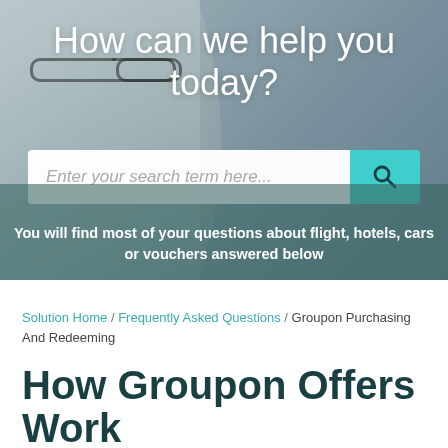[Figure (photo): Hero banner with a blurred photo of a person wearing glasses, overlaid with a teal/green semi-transparent banner. Contains the heading 'How can we help you today?', a search bar, and a subtitle.]
How can we help you today?
Enter your search term here...
You will find most of your questions about flight, hotels, cars or vouchers answered below
Solution Home / Frequently Asked Questions / Groupon Purchasing And Redeeming
How Groupon Offers Work